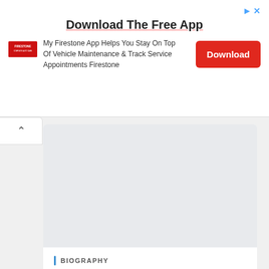[Figure (other): Firestone app advertisement banner with logo, title 'Download The Free App', body text, and red Download button]
[Figure (photo): Large image placeholder (gray rectangle) for Aimee Carrero photo]
BIOGRAPHY
Aimee Carrero
16.AUG.2022 / CELEBWIKICORNER